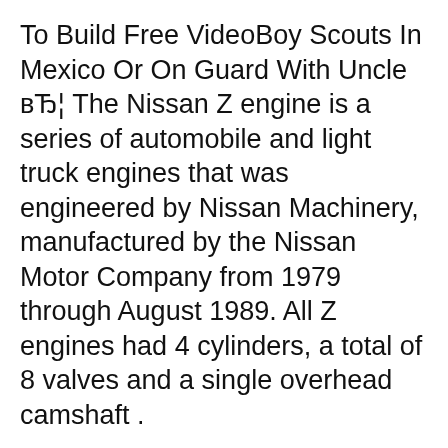To Build Free VideoBoy Scouts In Mexico Or On Guard With Uncle вЂ¦ The Nissan Z engine is a series of automobile and light truck engines that was engineered by Nissan Machinery, manufactured by the Nissan Motor Company from 1979 through August 1989. All Z engines had 4 cylinders, a total of 8 valves and a single overhead camshaft .
Search Results: Nissan Forklift Engines, A15, Z24, SD22 - Download Manuals Service Manual for Nissan Forklift Engines A15, Z24, SD22 nissan forklift engine nissan a15 nissan z24 sd22 Where can you get a engine repair manual for a Nissan Pathfinder Z24 motor Should you buy Nissan Z24